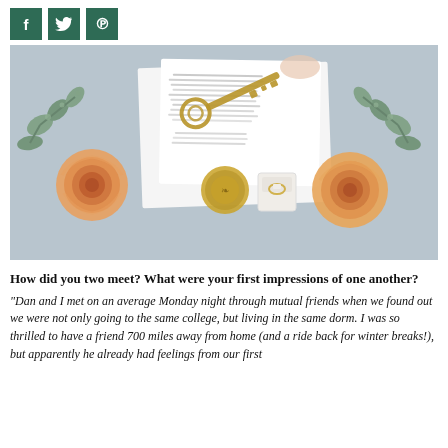[Figure (photo): Social media share buttons: Facebook (f), Twitter (bird), Pinterest (p) icons in dark green square buttons]
[Figure (photo): Flat lay photo on blue-grey textured background featuring orange ranunculus flowers, an antique brass key, a wax seal stamp, a small ring box, green eucalyptus sprigs, and white stationery cards with handwritten text]
How did you two meet? What were your first impressions of one another?
“Dan and I met on an average Monday night through mutual friends when we found out we were not only going to the same college, but living in the same dorm. I was so thrilled to have a friend 700 miles away from home (and a ride back for winter breaks!), but apparently he already had feelings from our first